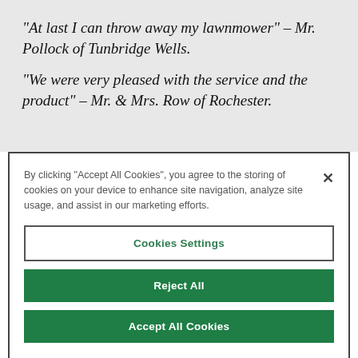“At last I can throw away my lawnmower” – Mr. Pollock of Tunbridge Wells.
“We were very pleased with the service and the product” – Mr. & Mrs. Row of Rochester.
By clicking “Accept All Cookies”, you agree to the storing of cookies on your device to enhance site navigation, analyze site usage, and assist in our marketing efforts.
Cookies Settings
Reject All
Accept All Cookies